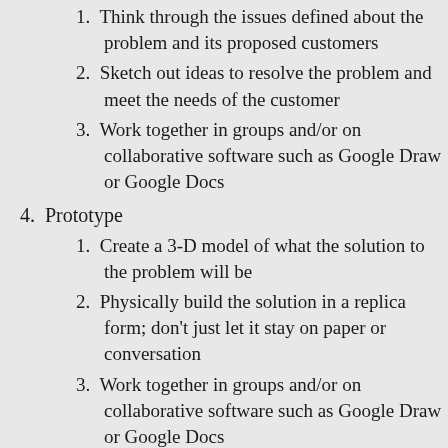1. Think through the issues defined about the problem and its proposed customers
2. Sketch out ideas to resolve the problem and meet the needs of the customer
3. Work together in groups and/or on collaborative software such as Google Draw or Google Docs
4. Prototype
1. Create a 3-D model of what the solution to the problem will be
2. Physically build the solution in a replica form; don't just let it stay on paper or conversation
3. Work together in groups and/or on collaborative software such as Google Draw or Google Docs
5. Test